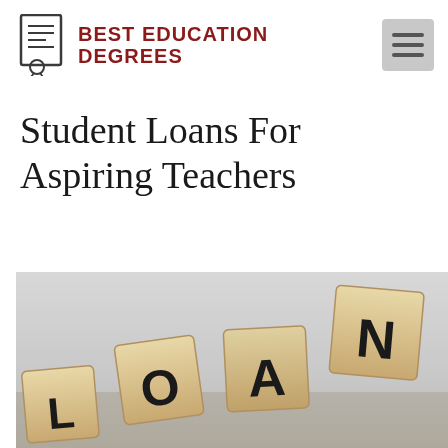BEST EDUCATION DEGREES
Student Loans For Aspiring Teachers
[Figure (photo): Scrabble tiles spelling out LOAN on a light gray background, photographed at an angle. The tiles are wooden colored with black letters.]